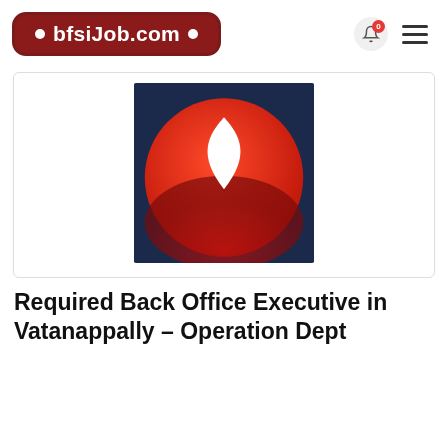[Figure (logo): bfsiJob.com website logo — dark red badge with white text]
[Figure (logo): Company logo: red circle with white teardrop/leaf cutout on dark navy blue square background]
Required Back Office Executive in Vatanappally – Operation Dept